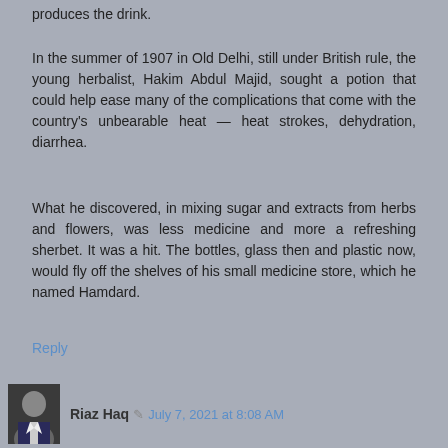produces the drink.
In the summer of 1907 in Old Delhi, still under British rule, the young herbalist, Hakim Abdul Majid, sought a potion that could help ease many of the complications that come with the country's unbearable heat — heat strokes, dehydration, diarrhea.
What he discovered, in mixing sugar and extracts from herbs and flowers, was less medicine and more a refreshing sherbet. It was a hit. The bottles, glass then and plastic now, would fly off the shelves of his small medicine store, which he named Hamdard.
Reply
Riaz Haq ✎ July 7, 2021 at 8:08 AM
Across Borders & Divides in #SouthAsia, 'Heavenly' "Rooh Afza" (Soul Refresher) Cools Summer Heat in #Bangladesh, #India and #Pakistan. In Pakistan, the thick,